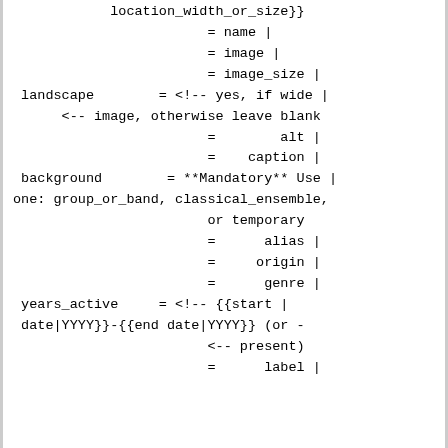location_width_or_size}}
                        = name |
                        = image |
                        = image_size |
 landscape        = <!-- yes, if wide |
      <-- image, otherwise leave blank
                        =        alt |
                        =    caption |
 background        = **Mandatory** Use |
one: group_or_band, classical_ensemble,
                        or temporary
                        =      alias |
                        =     origin |
                        =      genre |
 years_active     = <!-- {{start |
 date|YYYY}}-{{end date|YYYY}} (or -
                        <-- present)
                        =      label |